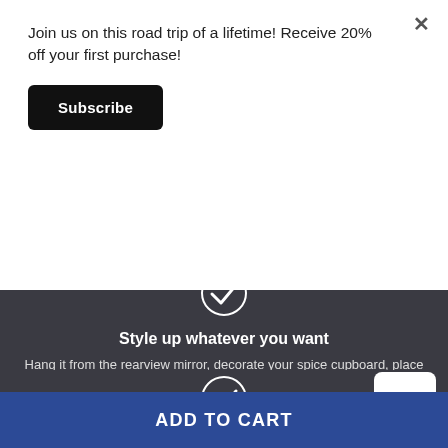Join us on this road trip of a lifetime! Receive 20% off your first purchase!
Subscribe
[Figure (illustration): Checkmark inside a circle icon, white on dark background, top]
Style up whatever you want
Hang it from the rearview mirror, decorate your spice cupboard, place it on a door knob, or use it as a holiday ornament or as a ceiling fan pull.
[Figure (illustration): Checkmark inside a circle icon, white on dark background, bottom]
TOP
ADD TO CART